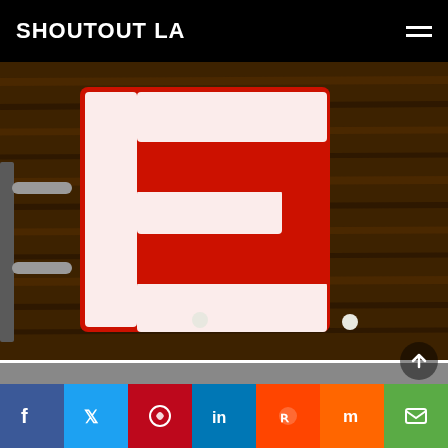SHOUTOUT LA
[Figure (photo): Overhead view of red and white rose petals arranged in the shape of the letter E on a dark wooden surface, with a towel bar visible on the left]
[Figure (photo): Indoor/outdoor scene showing a small wooden dresser with a gold trophy cup on top, a decorative vase with pumpkin design, plants visible through a window]
[Figure (infographic): Social media sharing bar with Facebook, Twitter, Pinterest, LinkedIn, Reddit, Mix, and email icon buttons]